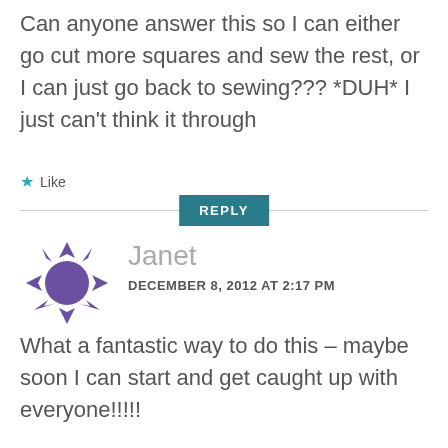Can anyone answer this so I can either go cut more squares and sew the rest, or I can just go back to sewing??? *DUH* I just can't think it through
★ Like
REPLY
[Figure (logo): Purple WordPress-style avatar icon made of arrow shapes pointing outward]
Janet
DECEMBER 8, 2012 AT 2:17 PM
What a fantastic way to do this – maybe soon I can start and get caught up with everyone!!!!! Thanks for taking the time to find and